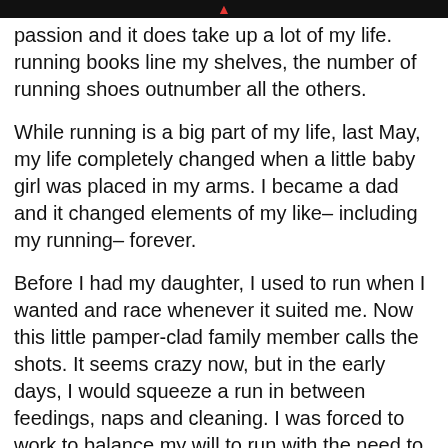passion and it does take up a lot of my life. running books line my shelves, the number of running shoes outnumber all the others.
While running is a big part of my life, last May, my life completely changed when a little baby girl was placed in my arms. I became a dad and it changed elements of my like– including my running– forever.
Before I had my daughter, I used to run when I wanted and race whenever it suited me. Now this little pamper-clad family member calls the shots. It seems crazy now, but in the early days, I would squeeze a run in between feedings, naps and cleaning. I was forced to work to balance my will to run with the need to be a good dad, husband and stay on top of other responsibilities.
So I bought a running stroller.